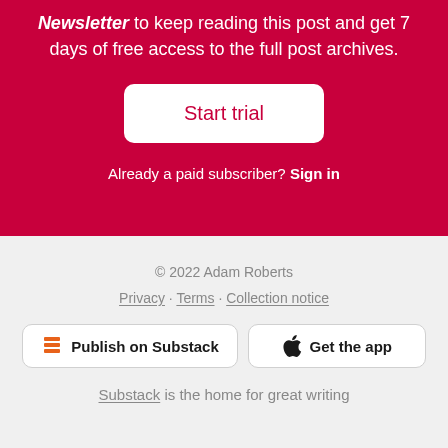Newsletter to keep reading this post and get 7 days of free access to the full post archives.
Start trial
Already a paid subscriber? Sign in
© 2022 Adam Roberts
Privacy · Terms · Collection notice
Publish on Substack
Get the app
Substack is the home for great writing